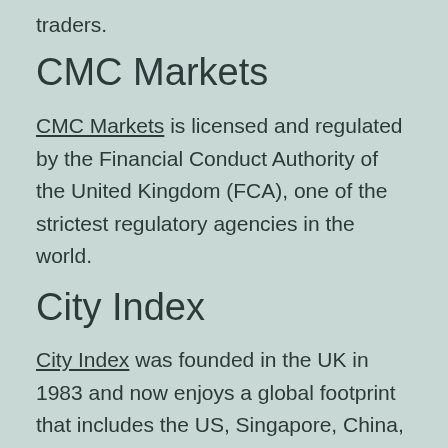traders.
CMC Markets
CMC Markets is licensed and regulated by the Financial Conduct Authority of the United Kingdom (FCA), one of the strictest regulatory agencies in the world.
City Index
City Index was founded in the UK in 1983 and now enjoys a global footprint that includes the US, Singapore, China, Poland and Australia.